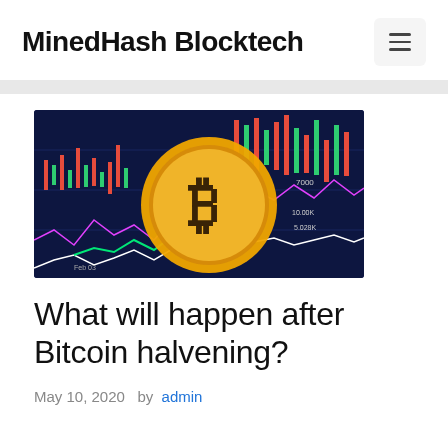MinedHash Blocktech
[Figure (photo): Bitcoin gold coin on top of financial trading chart with candlestick patterns, showing price levels like 7000, 10.00K, 5.028K and date Feb 03 on a dark blue background]
What will happen after Bitcoin halvening?
May 10, 2020  by admin